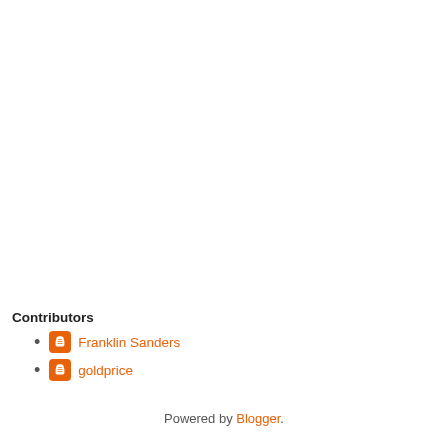Contributors
Franklin Sanders
goldprice
Powered by Blogger.